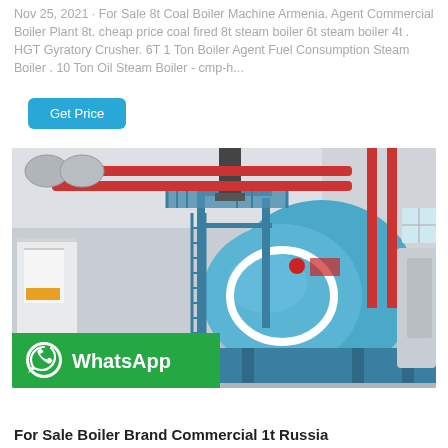Nov 25, 2021 · For Sale 8t Coal Boiler Machine Armenia. Agent Commercial Boiler Plant 8t. cheap price coal fired 8t steam boiler 6t steam boiler 4t . HGT Gyratory Crusher. 6T 1 Ton Boiler Agent Fuel Consumption Steam Boiler . 10 Ton Oil Steam Boiler - cmp-h...
[Figure (other): Button labeled Get Price with cyan/teal background]
[Figure (photo): Industrial boiler room with large blue cylindrical steam boiler, red and blue pipes, scaffolding, and industrial equipment inside a white-walled facility. WhatsApp overlay banner in bottom-left corner.]
For Sale Boiler Brand Commercial 1t Russia